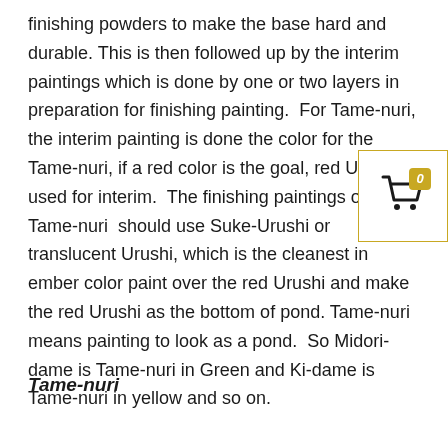finishing powders to make the base hard and durable. This is then followed up by the interim paintings which is done by one or two layers in preparation for finishing painting. For Tame-nuri, the interim painting is done the color for the Tame-nuri, if a red color is the goal, red Urushi is used for interim. The finishing paintings on Tame-nuri should use Suke-Urushi or translucent Urushi, which is the cleanest in ember color paint over the red Urushi and make the red Urushi as the bottom of pond. Tame-nuri means painting to look as a pond. So Midori-dame is Tame-nuri in Green and Ki-dame is Tame-nuri in yellow and so on.
[Figure (other): Shopping cart icon with badge showing '0' in gold/yellow color, inside a bordered box]
Tame-nuri
...